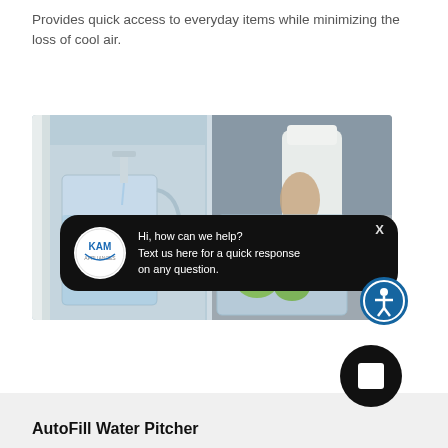Provides quick access to everyday items while minimizing the loss of cool air.
[Figure (photo): Product photo showing a refrigerator water pitcher/dispenser on the left and a person pouring water from a white pitcher into a clear pitcher with limes on the right. A KAM Appliances chat bubble overlay appears at the bottom with text: Hi, how can we help? Text us here for a quick response on any question. An accessibility icon button and a Rasa chat button are also visible.]
AutoFill Water Pitcher